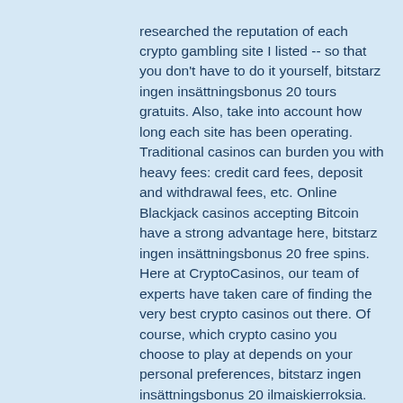researched the reputation of each crypto gambling site I listed -- so that you don't have to do it yourself, bitstarz ingen insättningsbonus 20 tours gratuits. Also, take into account how long each site has been operating. Traditional casinos can burden you with heavy fees: credit card fees, deposit and withdrawal fees, etc. Online Blackjack casinos accepting Bitcoin have a strong advantage here, bitstarz ingen insättningsbonus 20 free spins. Here at CryptoCasinos, our team of experts have taken care of finding the very best crypto casinos out there. Of course, which crypto casino you choose to play at depends on your personal preferences, bitstarz ingen insättningsbonus 20 ilmaiskierroksia. Simply put, this site covers all the bases of what goes into making a great crypto platform, bitstarz ingen insättningsbonus 2021. This list wouldn't be complete without mentioning BitCasino. The BB-1 Bitcasino of the most...